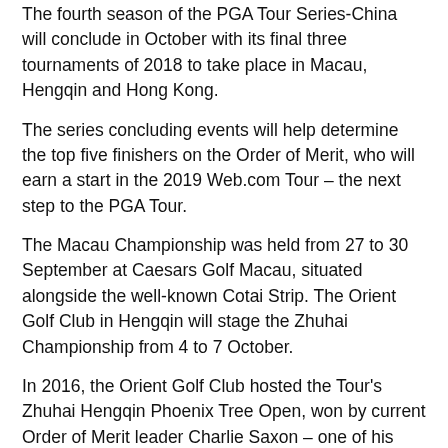The fourth season of the PGA Tour Series-China will conclude in October with its final three tournaments of 2018 to take place in Macau, Hengqin and Hong Kong.
The series concluding events will help determine the top five finishers on the Order of Merit, who will earn a start in the 2019 Web.com Tour – the next step to the PGA Tour.
The Macau Championship was held from 27 to 30 September at Caesars Golf Macau, situated alongside the well-known Cotai Strip. The Orient Golf Club in Hengqin will stage the Zhuhai Championship from 4 to 7 October.
In 2016, the Orient Golf Club hosted the Tour's Zhuhai Hengqin Phoenix Tree Open, won by current Order of Merit leader Charlie Saxon – one of his four career wins on the